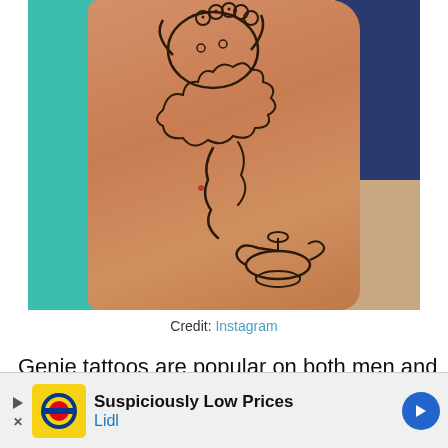[Figure (photo): Close-up photo of a person's forearm with a detailed tattoo featuring a genie emerging from a magic lamp, with clouds and decorative elements. Background shows teal/green fabric on the left and dark blue denim on the right.]
Credit: Instagram
Genie tattoos are popular on both men and women. This versatile design is usually depicted coming out of a bottle. The iconic blue genie from the Disney
anima
desig